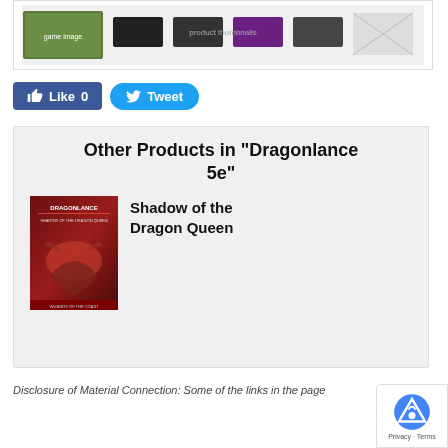[Figure (photo): Top banner image showing game product thumbnails/screenshots in a white bordered box]
[Figure (infographic): Facebook Like button (blue, count 0) and Twitter Tweet button (blue rounded)]
Other Products in "Dragonlance 5e"
[Figure (photo): Book cover for Shadow of the Dragon Queen - Dragonlance 5e edition showing a dragon and warriors]
Shadow of the Dragon Queen
Disclosure of Material Connection: Some of the links in the page